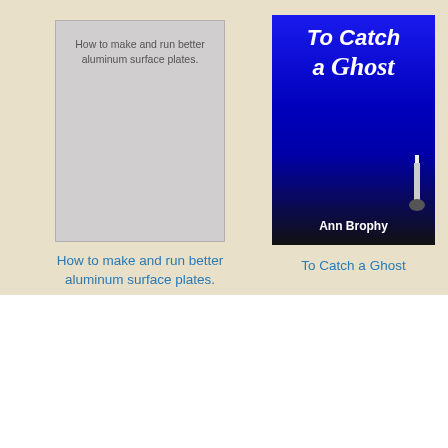[Figure (illustration): Book cover placeholder for 'How to make and run better aluminum surface plates.' with grey background and text]
How to make and run better aluminum surface plates.
[Figure (illustration): Book cover for 'To Catch a Ghost' by Ann Brophy with blue lighthouse night scene]
To Catch a Ghost
Understanding the Mother of Jesus by Eamon R. Carroll Download PDF EPUB FB2
This book gives you a more indepth knowledge about how Jesus